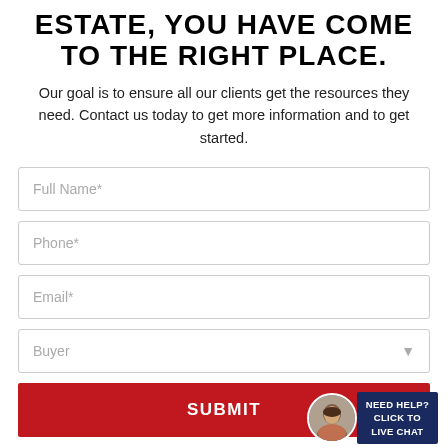ESTATE, YOU HAVE COME TO THE RIGHT PLACE.
Our goal is to ensure all our clients get the resources they need. Contact us today to get more information and to get started.
[Figure (other): Web contact form with fields: Full Name*, Phone*, Email*, Buyer dropdown, and a red SUBMIT button. A live chat widget with a woman's avatar photo and 'NEED HELP? CLICK TO LIVE CHAT' appears in the bottom right corner.]